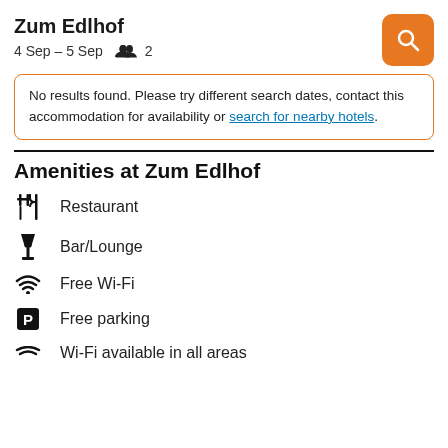Zum Edlhof
4 Sep – 5 Sep   2
No results found. Please try different search dates, contact this accommodation for availability or search for nearby hotels.
Amenities at Zum Edlhof
Restaurant
Bar/Lounge
Free Wi-Fi
Free parking
Wi-Fi available in all areas